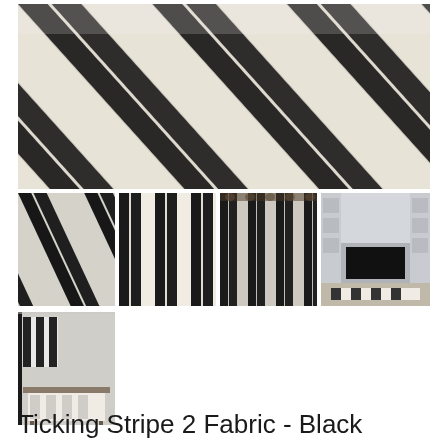[Figure (photo): Close-up photo of ticking stripe fabric in black and cream/off-white, showing diagonal herringbone-like weave texture with bold alternating black and cream stripes]
[Figure (photo): Thumbnail 1: Close-up of folded black and cream ticking stripe fabric]
[Figure (photo): Thumbnail 2: Flat lay showing vertical black and cream ticking stripes]
[Figure (photo): Thumbnail 3: Black and cream striped curtains hanging on a curtain rod]
[Figure (photo): Thumbnail 4: Living room with built-in shelving, television, and striped fabric accents]
[Figure (photo): Thumbnail 5: Kitchen scene with black and cream striped curtains and a table with a decorative tablecloth]
Ticking Stripe 2 Fabric - Black